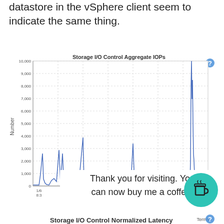datastore in the vSphere client seem to indicate the same thing.
[Figure (continuous-plot): Line chart showing Storage I/O Control Aggregate IOPs over time from approximately 1/6 8:3x to 1/24/11 9:25 PM. Y-axis ranges from 0 to 10,000. Shows mostly low values with periodic spikes: ~2,600 near 1/6, ~2,900 and ~2,600 around 1/8, ~3,900 around 1/10, ~3,400 around 1/16, and a large spike to ~10,000 and ~8,500 near 1/24.]
Thank you for visiting. You can now buy me a coffee!
Storage I/O Control Normalized Latency